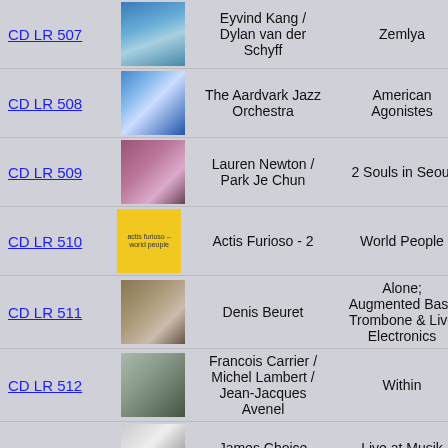| ID | Cover | Artist | Title | Info |
| --- | --- | --- | --- | --- |
| CD LR 507 | [image] | Eyvind Kang / Dylan van der Schyff | Zemlya | C 1 |
| CD LR 508 | [image] | The Aardvark Jazz Orchestra | American Agonistes | C 1 |
| CD LR 509 | [image] | Lauren Newton / Park Je Chun | 2 Souls in Seoul | C 1 |
| CD LR 510 | [image] | Actis Furioso - 2 | World People | C 1 |
| CD LR 511 | [image] | Denis Beuret | Alone; Augmented Bass Trombone & Live Electronics | C 1 |
| CD LR 512 | [image] | Francois Carrier / Michel Lambert / Jean-Jacques Avenel | Within | C 1 |
| CD LR 513 | [image] | James Choice Orchestra | Live at Musik Triennale Koln | C 1 |